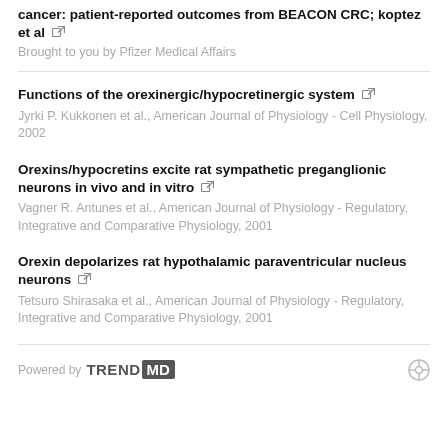cancer: patient-reported outcomes from BEACON CRC; koptez et al
Brought to you by Pfizer Medical Affairs
Functions of the orexinergic/hypocretinergic system
Jyrki P. Kukkonen et al., American Journal of Physiology - Cell Physiology, 2002
Orexins/hypocretins excite rat sympathetic preganglionic neurons in vivo and in vitro
Vagner R. Antunes et al., American Journal of Physiology - Regulatory, Integrative and Comparative Physiology, 2001
Orexin depolarizes rat hypothalamic paraventricular nucleus neurons
Tetsuro Shirasaka et al., American Journal of Physiology - Regulatory, Integrative and Comparative Physiology, 2001
Powered by TRENDMD
SfN uses cookies to provide you with a secure and custom website experience. Please read our privacy policy for more details. Learn more
I Accept